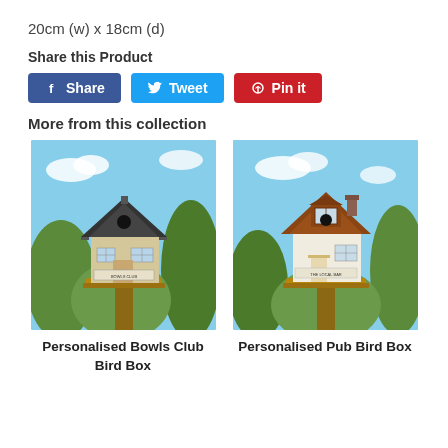20cm (w) x 18cm (d)
Share this Product
[Figure (screenshot): Facebook Share button, Twitter Tweet button, Pinterest Pin it button]
More from this collection
[Figure (photo): Personalised Bowls Club Bird Box - a miniature bowls club building as a bird box on a post surrounded by garden greenery]
Personalised Bowls Club Bird Box
[Figure (photo): Personalised Pub Bird Box - a miniature pub building as a bird box on a post surrounded by garden greenery]
Personalised Pub Bird Box